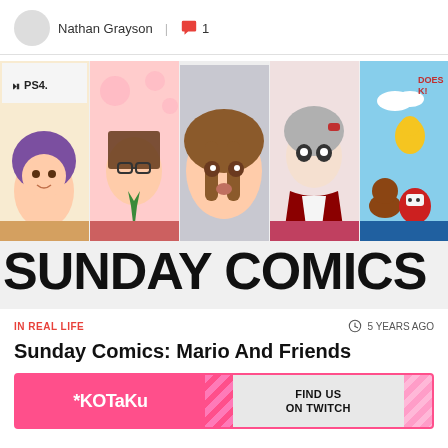Nathan Grayson | 1
[Figure (illustration): Sunday Comics banner image showing five vertical panels of anime/manga-style comic illustrations of various characters, with 'SUNDAY COMICS' text overlaid at the bottom. Characters include a girl with purple hair, a man with glasses, a girl with brown hair, a girl in traditional Japanese outfit, and Mario-universe characters. PS4 logo visible in top-left panel.]
IN REAL LIFE
5 YEARS AGO
Sunday Comics: Mario And Friends
[Figure (other): Kotaku advertisement banner with pink background showing 'KOTAKU' logo on left and 'FIND US ON TWITCH' text on right, with diagonal stripe dividers.]